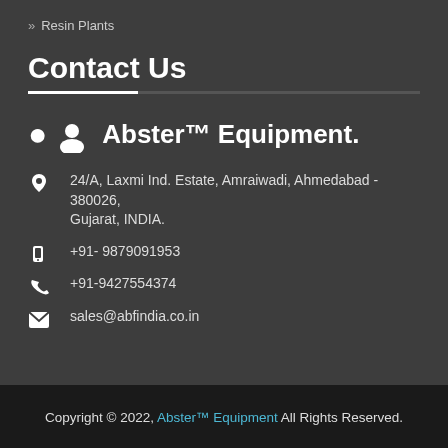» Resin Plants
Contact Us
Abster™ Equipment.
24/A, Laxmi Ind. Estate, Amraiwadi, Ahmedabad - 380026, Gujarat, INDIA.
+91- 9879091953
+91-9427554374
sales@abfindia.co.in
Copyright © 2022, Abster™ Equipment All Rights Reserved.